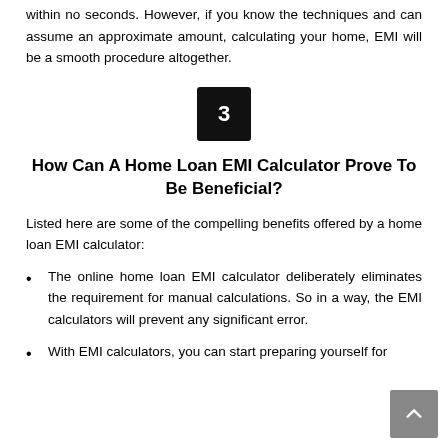within no seconds. However, if you know the techniques and can assume an approximate amount, calculating your home, EMI will be a smooth procedure altogether.
[Figure (other): Black square box with the number 3 in white, centered]
How Can A Home Loan EMI Calculator Prove To Be Beneficial?
Listed here are some of the compelling benefits offered by a home loan EMI calculator:
The online home loan EMI calculator deliberately eliminates the requirement for manual calculations. So in a way, the EMI calculators will prevent any significant error.
With EMI calculators, you can start preparing yourself for